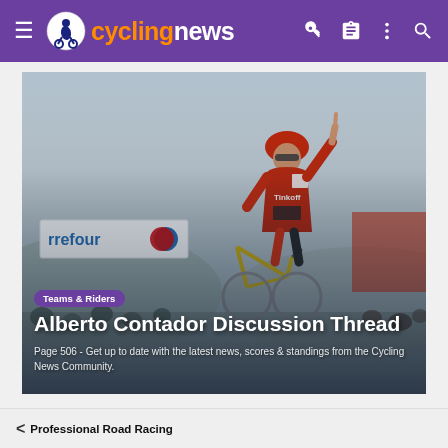cyclingnews
[Figure (photo): Alberto Contador in red Tinkoff jersey celebrating with one finger raised, riding at a race finish. Carrefour advertising banner visible in background. Crowd present.]
Alberto Contador Discussion Thread
Page 506 - Get up to date with the latest news, scores & standings from the Cycling News Community.
Professional Road Racing